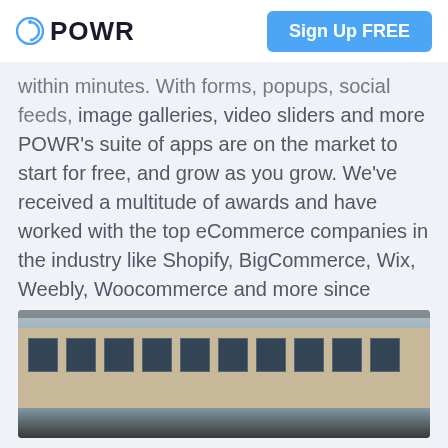POWR | Sign Up FREE
within minutes. With forms, popups, social feeds, image galleries, video sliders and more POWR's suite of apps are on the market to start for free, and grow as you grow. We've received a multitude of awards and have worked with the top eCommerce companies in the industry like Shopify, BigCommerce, Wix, Weebly, Woocommerce and more since inception. Our apps integrate with widely used platforms, like Google Sheets Mailchimp and Zapier, to save you even more time and making processes seamless across multiple business softwares.
[Figure (photo): Exterior of a stone/brick building facade with rows of windows; a group of people visible at the bottom of the frame in front of the building.]